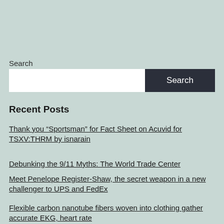Search
[Figure (screenshot): Search input box with white text field and dark navy Search button]
Recent Posts
Thank you “Sportsman” for Fact Sheet on Acuvid for TSXV:THRM by isnarain
Debunking the 9/11 Myths: The World Trade Center
Meet Penelope Register-Shaw, the secret weapon in a new challenger to UPS and FedEx
Flexible carbon nanotube fibers woven into clothing gather accurate EKG, heart rate